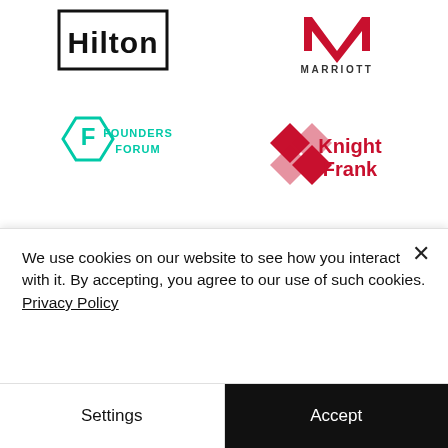[Figure (logo): Hilton hotel logo — black sans-serif 'Hilton' text inside a rectangular border]
[Figure (logo): Marriott hotel logo — red stylised M shape above 'MARRIOTT' text in dark grey]
[Figure (logo): Founders Forum logo — teal hexagon with 'F' inside, teal uppercase text 'FOUNDERS FORUM']
[Figure (logo): Knight Frank logo — dark red diamond/cross pattern beside 'Knight Frank' bold text]
[Figure (logo): Partially visible red and grey logos at bottom of page, cut off by cookie banner]
We use cookies on our website to see how you interact with it. By accepting, you agree to our use of such cookies. Privacy Policy
Settings
Accept